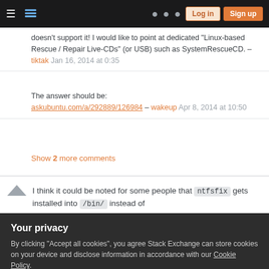Stack Exchange navigation bar with hamburger menu, logo, icons, Log in and Sign up buttons
doesn't support it! I would like to point at dedicated "Linux-based Rescue / Repair Live-CDs" (or USB) such as SystemRescueCD. – tiktak Jan 16, 2014 at 0:35
The answer should be: askubuntu.com/a/292889/126984 – wakeup Apr 8, 2014 at 10:50
Show 2 more comments
I think it could be noted for some people that ntfsfix gets installed into /bin/ instead of
Your privacy
By clicking "Accept all cookies", you agree Stack Exchange can store cookies on your device and disclose information in accordance with our Cookie Policy.
Accept all cookies   Customize settings
/usr/bin/